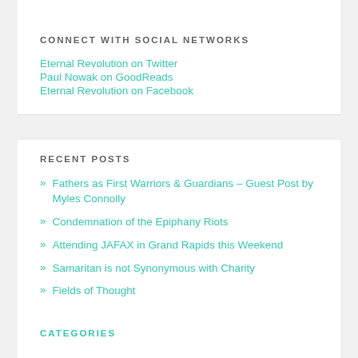CONNECT WITH SOCIAL NETWORKS
Eternal Revolution on Twitter
Paul Nowak on GoodReads
Eternal Revolution on Facebook
RECENT POSTS
» Fathers as First Warriors & Guardians – Guest Post by Myles Connolly
» Condemnation of the Epiphany Riots
» Attending JAFAX in Grand Rapids this Weekend
» Samaritan is not Synonymous with Charity
» Fields of Thought
CATEGORIES